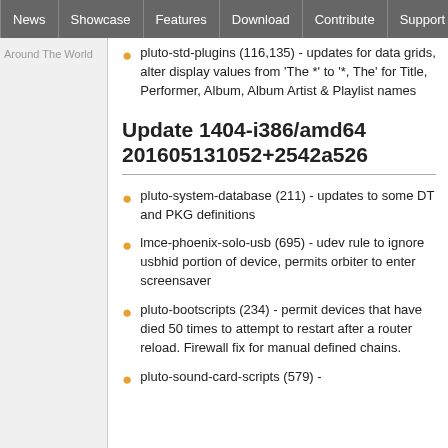News | Showcase | Features | Download | Contribute | Support
pluto-std-plugins (116,135) - updates for data grids, alter display values from 'The *' to '*, The' for Title, Performer, Album, Album Artist & Playlist names
Update 1404-i386/amd64 201605131052+2542a526
pluto-system-database (211) - updates to some DT and PKG definitions
lmce-phoenix-solo-usb (695) - udev rule to ignore usbhid portion of device, permits orbiter to enter screensaver
pluto-bootscripts (234) - permit devices that have died 50 times to attempt to restart after a router reload. Firewall fix for manual defined chains.
pluto-sound-card-scripts (579) -